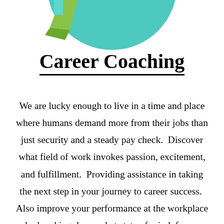[Figure (illustration): Partial illustration of a circular graphic with teal/green colors visible at the top of the page — appears to be a career coaching decorative image cropped at the top]
Career Coaching
We are lucky enough to live in a time and place where humans demand more from their jobs than just security and a steady pay check.  Discover what field of work invokes passion, excitement, and fulfillment.  Providing assistance in taking the next step in your journey to career success.  Also improve your performance at the workplace by breaking down what state of mind, focus, mood, and actions will allow you to produce your highest level of